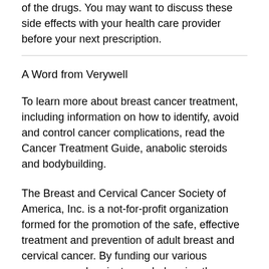of the drugs. You may want to discuss these side effects with your health care provider before your next prescription.
A Word from Verywell
To learn more about breast cancer treatment, including information on how to identify, avoid and control cancer complications, read the Cancer Treatment Guide, anabolic steroids and bodybuilding.
The Breast and Cervical Cancer Society of America, Inc. is a not-for-profit organization formed for the promotion of the safe, effective treatment and prevention of adult breast and cervical cancer. By funding our various programs and projects, we help raise the awareness and knowledge of breast and cervical cancer through a broad spectrum